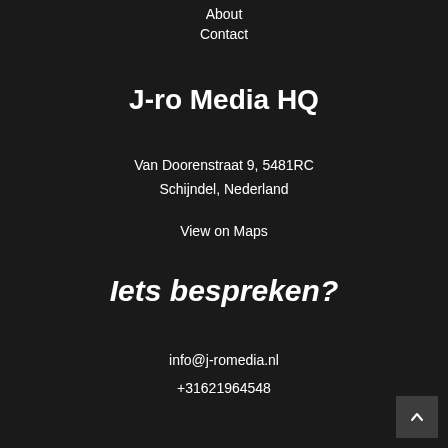About
Contact
J-ro Media HQ
Van Doorenstraat 9, 5481RC Schijndel, Nederland
View on Maps
Iets bespreken?
info@j-romedia.nl
+31621964548